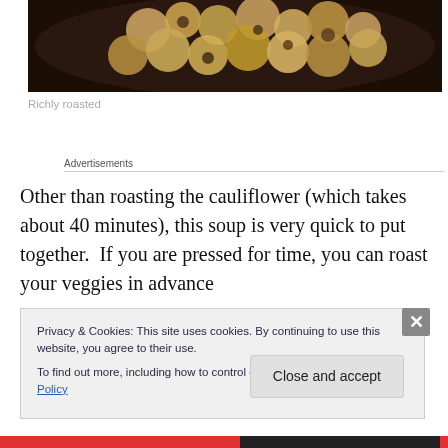[Figure (photo): Close-up photo of richly roasted cauliflower florets on a dark background]
Richly roasted
Advertisements
Other than roasting the cauliflower (which takes about 40 minutes), this soup is very quick to put together.  If you are pressed for time, you can roast your veggies in advance
Privacy & Cookies: This site uses cookies. By continuing to use this website, you agree to their use.
To find out more, including how to control cookies, see here: Cookie Policy
Close and accept